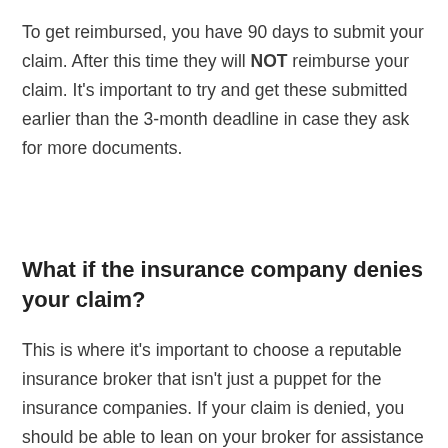To get reimbursed, you have 90 days to submit your claim. After this time they will NOT reimburse your claim. It's important to try and get these submitted earlier than the 3-month deadline in case they ask for more documents.
What if the insurance company denies your claim?
This is where it's important to choose a reputable insurance broker that isn't just a puppet for the insurance companies. If your claim is denied, you should be able to lean on your broker for assistance in